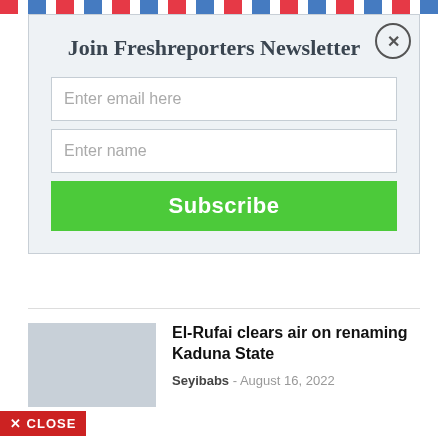[Figure (other): Airmail diagonal stripe border at top of page in red, white, and blue]
Join Freshreporters Newsletter
Enter email here
Enter name
Subscribe
El-Rufai clears air on renaming Kaduna State
Seyibabs - August 16, 2022
✕ CLOSE